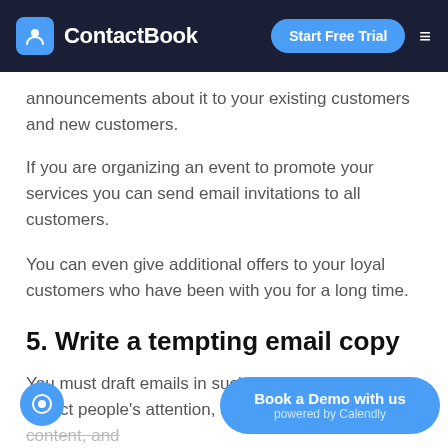ContactBook — Start Free Trial
announcements about it to your existing customers and new customers.
If you are organizing an event to promote your services you can send email invitations to all customers.
You can even give additional offers to your loyal customers who have been with you for a long time.
5. Write a tempting email copy
You must draft emails in such a way that it will attract people's attention, make them read the entire content, and guide them towards the call to action.